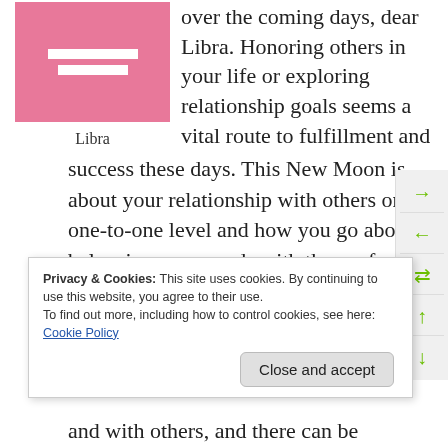[Figure (illustration): Pink square icon representing the Libra zodiac sign with white horizontal bars resembling scales]
Libra
over the coming days, dear Libra. Honoring others in your life or exploring relationship goals seems a vital route to fulfillment and success these days. This New Moon is about your relationship with others on a one-to-one level and how you go about balancing your needs with those of another. It may also be a time for gaining a new perspective on your life through the eyes of someone else. A Sun-Chiron alignment today is powerful for
Privacy & Cookies: This site uses cookies. By continuing to use this website, you agree to their use.
To find out more, including how to control cookies, see here: Cookie Policy
and with others, and there can be significant